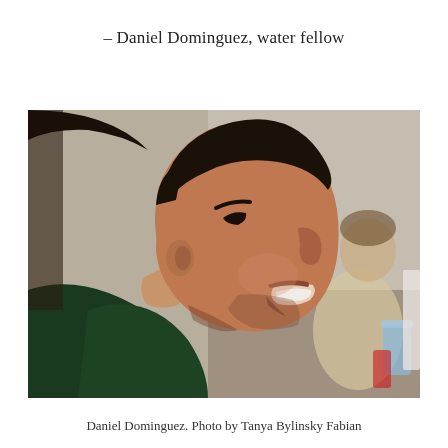– Daniel Dominguez, water fellow
[Figure (photo): Profile photo of Daniel Dominguez, a young man smiling in side profile, wearing a dark green shirt. In the background, slightly blurred, is another person seated at a table with a cup. Photo taken in an indoor meeting room setting.]
Daniel Dominguez. Photo by Tanya Bylinsky Fabian